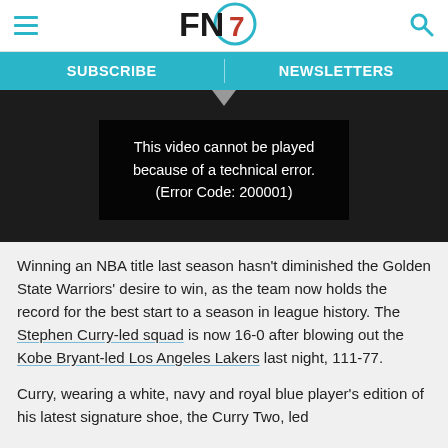FN7 — SUBSCRIBE | NEWSLETTERS
[Figure (screenshot): Video player showing error message: 'This video cannot be played because of a technical error. (Error Code: 200001)']
Winning an NBA title last season hasn’t diminished the Golden State Warriors’ desire to win, as the team now holds the record for the best start to a season in league history. The Stephen Curry-led squad is now 16-0 after blowing out the Kobe Bryant-led Los Angeles Lakers last night, 111-77.
Curry, wearing a white, navy and royal blue player’s edition of his latest signature shoe, the Curry Two, led